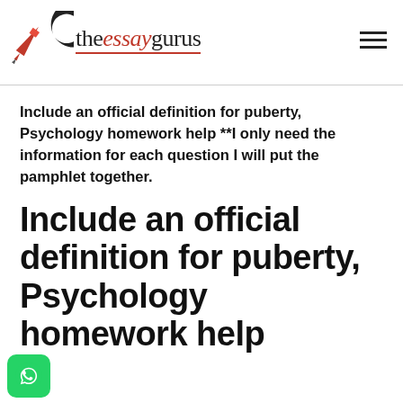[Figure (logo): theessaygurus logo with red pen and crescent shape, italic red 'essay' in the wordmark, red underline beneath the text]
Include an official definition for puberty, Psychology homework help **I only need the information for each question I will put the pamphlet together.
Include an official definition for puberty, Psychology homework help